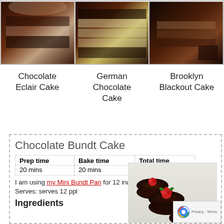[Figure (photo): Three photos of chocolate cakes side by side - a slice of chocolate eclair cake, a layered German chocolate cake, and a slice of Brooklyn blackout cake]
Chocolate Eclair Cake
German Chocolate Cake
Brooklyn Blackout Cake
Chocolate Bundt Cake
| Prep time | Bake time | Total time |
| --- | --- | --- |
| 20 mins | 20 mins | 40 mins |
I am using my Mini Bundt Pan for 12 individual cakes
Serves: serves 12 ppl
Ingredients
[Figure (photo): Mini chocolate bundt cakes topped with raspberries on a white plate]